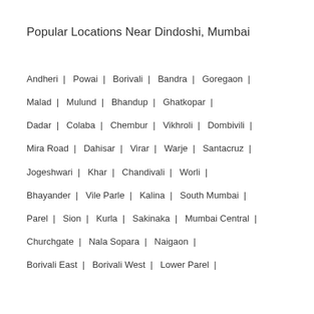Popular Locations Near Dindoshi, Mumbai
Andheri | Powai | Borivali | Bandra | Goregaon | Malad | Mulund | Bhandup | Ghatkopar | Dadar | Colaba | Chembur | Vikhroli | Dombivili | Mira Road | Dahisar | Virar | Warje | Santacruz | Jogeshwari | Khar | Chandivali | Worli | Bhayander | Vile Parle | Kalina | South Mumbai | Parel | Sion | Kurla | Sakinaka | Mumbai Central | Churchgate | Nala Sopara | Naigaon | Borivali East | Borivali West | Lower Parel |